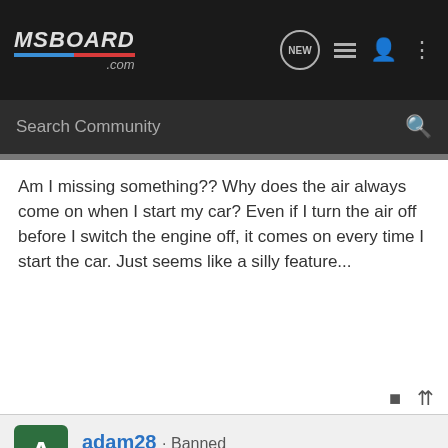MSBOARD.com
Search Community
Am I missing something?? Why does the air always come on when I start my car? Even if I turn the air off before I switch the engine off, it comes on every time I start the car. Just seems like a silly feature...
adam28 · Banned
Joined Jul 12, 2005 · 453 Posts
#2 · Sep 26, 2005
I would like to know as well...mine does the same thing!hmmm